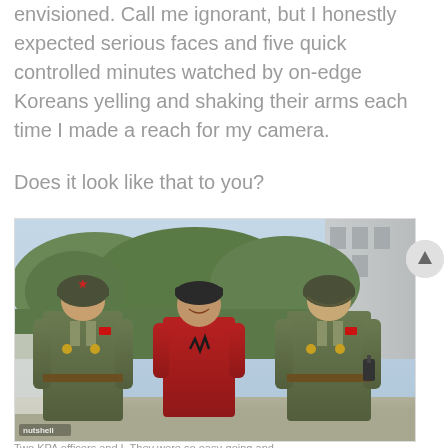envisioned. Call me ignorant, but I honestly expected serious faces and five quick controlled minutes watched by on-edge Koreans yelling and shaking their arms each time I made a reach for my camera.
Does it look like that to you?
[Figure (photo): Photo of a smiling Western tourist in a red t-shirt and dark cap standing between two North Korean soldiers in olive green uniforms and helmets, posing for a photo outdoors with trees and a building in the background.]
Two KPA officers and I. They were so easy-going and...